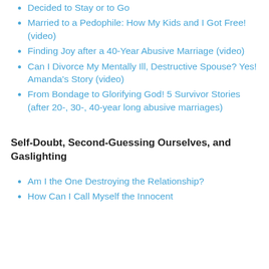Decided to Stay or to Go
Married to a Pedophile: How My Kids and I Got Free! (video)
Finding Joy after a 40-Year Abusive Marriage (video)
Can I Divorce My Mentally Ill, Destructive Spouse? Yes! Amanda's Story (video)
From Bondage to Glorifying God! 5 Survivor Stories (after 20-, 30-, 40-year long abusive marriages)
Self-Doubt, Second-Guessing Ourselves, and Gaslighting
Am I the One Destroying the Relationship?
How Can I Call Myself the Innocent